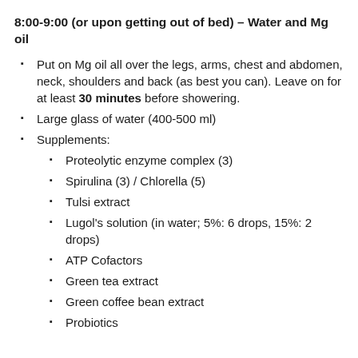8:00-9:00 (or upon getting out of bed) – Water and Mg oil
Put on Mg oil all over the legs, arms, chest and abdomen, neck, shoulders and back (as best you can). Leave on for at least 30 minutes before showering.
Large glass of water (400-500 ml)
Supplements:
Proteolytic enzyme complex (3)
Spirulina (3) / Chlorella (5)
Tulsi extract
Lugol's solution (in water; 5%: 6 drops, 15%: 2 drops)
ATP Cofactors
Green tea extract
Green coffee bean extract
Probiotics